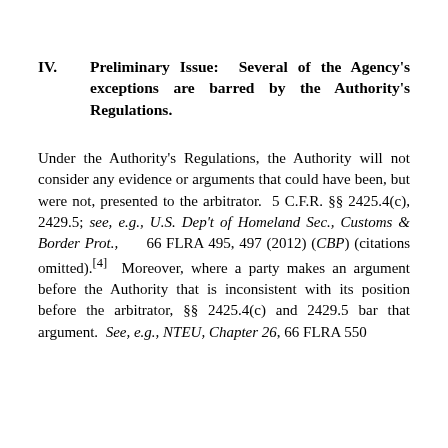IV.     Preliminary Issue:  Several of the Agency's exceptions are barred by the Authority's Regulations.
Under the Authority's Regulations, the Authority will not consider any evidence or arguments that could have been, but were not, presented to the arbitrator.  5 C.F.R. §§ 2425.4(c), 2429.5; see, e.g., U.S. Dep't of Homeland Sec., Customs & Border Prot.,      66 FLRA 495, 497 (2012) (CBP) (citations omitted).[4]  Moreover, where a party makes an argument before the Authority that is inconsistent with its position before the arbitrator, §§ 2425.4(c) and 2429.5 bar that argument.  See, e.g., NTEU, Chapter 26, 66 FLRA 550